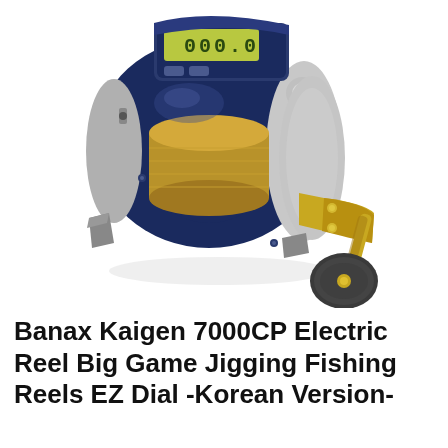[Figure (photo): A Banax Kaigen 7000CP electric fishing reel with dark navy blue body, gold-colored handle arm, silver spool, and a digital LCD display showing '000.0' on the top panel. The reel has a large grey/dark rubberized handle knob and gold mounting plates.]
Banax Kaigen 7000CP Electric Reel Big Game Jigging Fishing Reels EZ Dial -Korean Version-